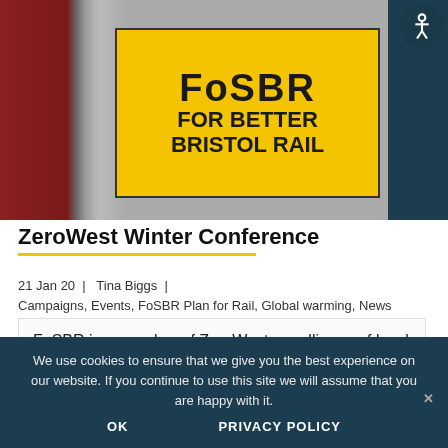[Figure (photo): Photo of a yellow banner sign reading 'FoSBR FOR BETTER BRISTOL RAIL' displayed at what appears to be a community stall or event, with red and grey tones visible in the background.]
ZeroWest Winter Conference
21 Jan 20  |  Tina Biggs  |
Campaigns, Events, FoSBR Plan for Rail, Global warming, News
FoSBR is a member of ZeroWest, an alliance of local organisations working towards a zero carbon West of
We use cookies to ensure that we give you the best experience on our website. If you continue to use this site we will assume that you are happy with it.
OK    PRIVACY POLICY